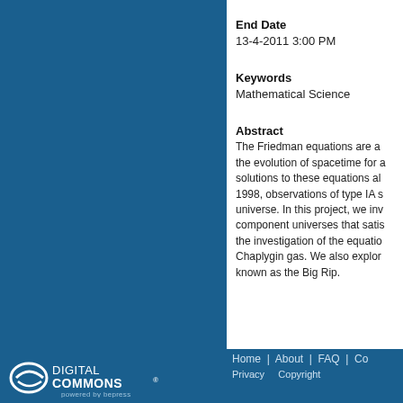End Date
13-4-2011 3:00 PM
Keywords
Mathematical Science
Abstract
The Friedman equations are a... the evolution of spacetime for a... solutions to these equations al... 1998, observations of type IA s... universe. In this project, we inv... component universes that satis... the investigation of the equatio... Chaplygin gas. We also explor... known as the Big Rip.
[Figure (logo): Digital Commons powered by bepress logo in white on blue background]
Home | About | FAQ | Co... Privacy   Copyright